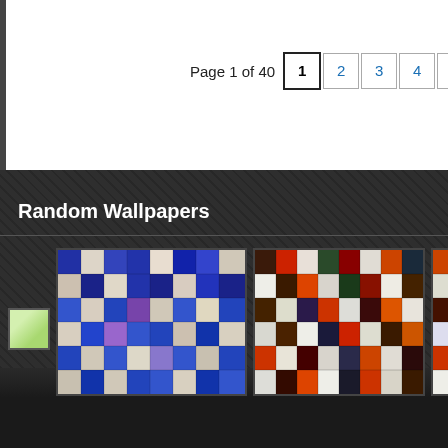Page 1 of 40  1  2  3  4  5
Random Wallpapers
[Figure (photo): Small green thumbnail icon]
[Figure (photo): Mosaic wallpaper collage with blue and beige tones]
[Figure (photo): Mosaic wallpaper collage with dark horror/fantasy themed images]
[Figure (photo): Mosaic wallpaper collage with colorful movie/art images]